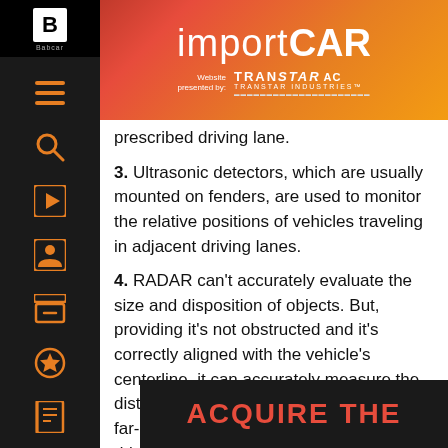importCAR — Website presented by: TRANSTAR AC TRANSTAR INDUSTRIES
prescribed driving lane.
3. Ultrasonic detectors, which are usually mounted on fenders, are used to monitor the relative positions of vehicles traveling in adjacent driving lanes.
4. RADAR can't accurately evaluate the size and disposition of objects. But, providing it's not obstructed and it's correctly aligned with the vehicle's centerline, it can accurately measure the distance between the subject vehicle and far-away objects near the center of the driving lane.
[Figure (photo): Dark background image with red bold text reading ACQUIRE THE]